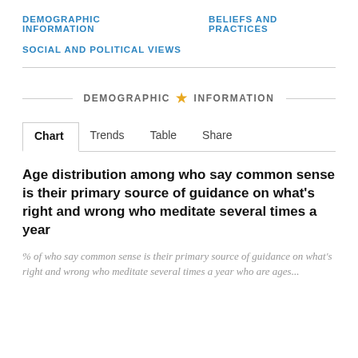DEMOGRAPHIC INFORMATION   BELIEFS AND PRACTICES
SOCIAL AND POLITICAL VIEWS
DEMOGRAPHIC ★ INFORMATION
Chart   Trends   Table   Share
Age distribution among who say common sense is their primary source of guidance on what's right and wrong who meditate several times a year
% of who say common sense is their primary source of guidance on what's right and wrong who meditate several times a year who are ages...